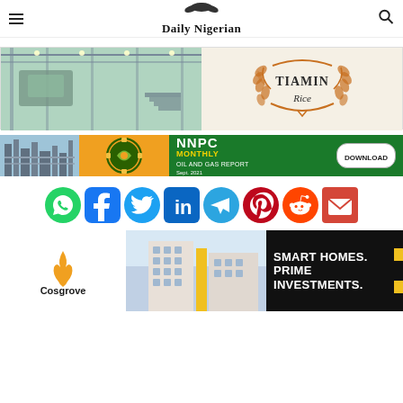Daily Nigerian
[Figure (illustration): Banner ad: Left side shows industrial facility interior (Tiamin Rice mill). Right side shows Tiamin Rice logo - orange laurel wreath with 'TIAMIN Rice' text in center.]
[Figure (illustration): NNPC Monthly Oil and Gas Report banner ad. Left: industrial refinery photo with NNPC logo. Right: Green background with 'NNPC MONTHLY OIL AND GAS REPORT' text, 'DOWNLOAD' button, and 'Sept. 2021' label.]
[Figure (illustration): Social media share icons row: WhatsApp (green), Facebook (blue), Twitter (light blue), LinkedIn (blue), Telegram (blue), Pinterest (red), Reddit (orange-red), Email (red).]
[Figure (illustration): Cosgrove real estate ad. Left: Cosgrove logo with flame icon. Center: apartment building photo. Right: dark background with 'SMART HOMES. PRIME INVESTMENTS.' text and yellow accent.]